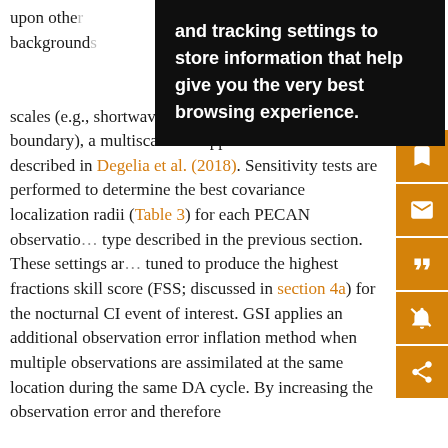upon othe… g the background… sts (Johnson… . Because t… isms across a spectrum of scales (e.g., shortwave trough, LL… outflow boundary), a multiscale DA approach is used li… that described in Degelia et al. (2018). Sensitivity tests are performed to determine the best covariance localization radii (Table 3) for each PECAN observatio… type described in the previous section. These settings ar… tuned to produce the highest fractions skill score (FSS; discussed in section 4a) for the nocturnal CI event of interest. GSI applies an additional observation error inflation method when multiple observations are assimilated at the same location during the same DA cycle. By increasing the observation error and therefore
[Figure (screenshot): Black tooltip/popup overlay with white bold text reading: 'and tracking settings to store information that help give you the very best browsing experience.']